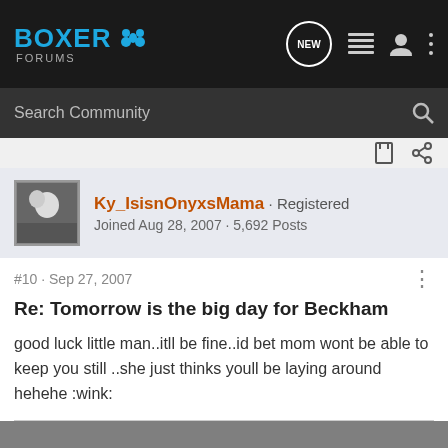BOXER FORUMS
Search Community
Ky_IsisnOnyxsMama · Registered
Joined Aug 28, 2007 · 5,692 Posts
#10 · Sep 27, 2007
Re: Tomorrow is the big day for Beckham
good luck little man..itll be fine..id bet mom wont be able to keep you still ..she just thinks youll be laying around hehehe :wink: